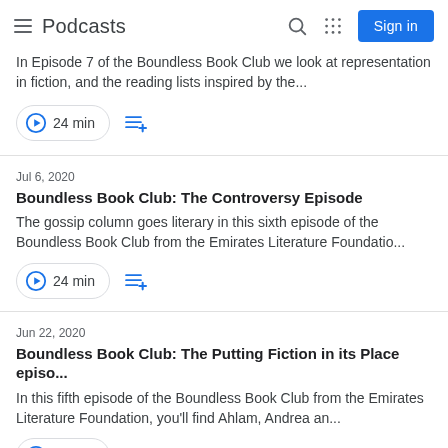Podcasts
In Episode 7 of the Boundless Book Club we look at representation in fiction, and the reading lists inspired by the...
24 min
Jul 6, 2020
Boundless Book Club: The Controversy Episode
The gossip column goes literary in this sixth episode of the Boundless Book Club from the Emirates Literature Foundatio...
24 min
Jun 22, 2020
Boundless Book Club: The Putting Fiction in its Place episo...
In this fifth episode of the Boundless Book Club from the Emirates Literature Foundation, you'll find Ahlam, Andrea an...
30 min